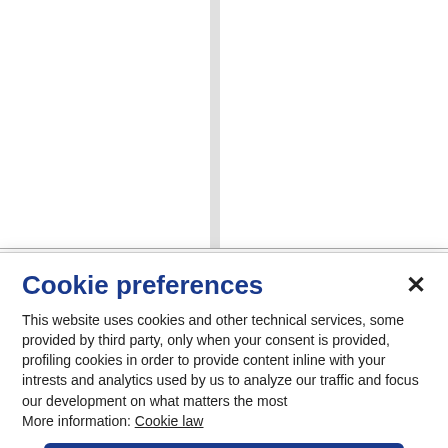[Figure (screenshot): Background page with two-column layout showing Italian text 'La giustizia re' partially visible at top right]
Cookie preferences
This website uses cookies and other technical services, some provided by third party, only when your consent is provided, profiling cookies in order to provide content inline with your intrests and analytics used by us to analyze our traffic and focus our development on what matters the most
More information: Cookie law
CONTINUE WITHOUT COOKIES
ACCEPT ALL
CUSTOMIZE